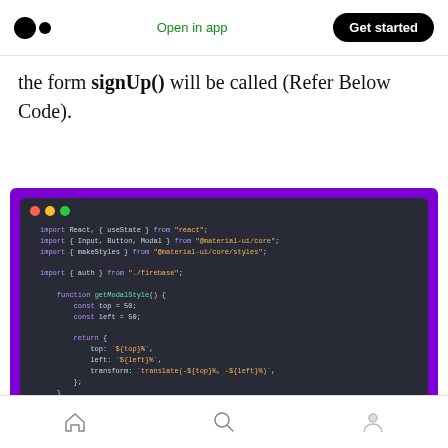Medium logo | Open in app | Get started
the form signUp() will be called (Refer Below Code).
[Figure (screenshot): Dark-themed code editor screenshot on purple background showing JavaScript/React code: imports for React, useState, Input, Button, Modal from @material-ui/core, makeStyles from @material-ui/core/styles, auth from ./firebase; function getModalStyle() with const top=50, const left=50, return { top: `${top}%`, left: `${left}%`, transform: `translate(-${top}%, -${left}%)` }; const useStyles = makeStyles((theme) => ({ paper: { position: 'absolute', width: 400, backgroundColor: theme.palette.background.paper, border: '2px solid #000',]
Home | Search | Profile navigation icons